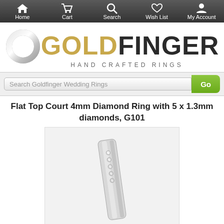Home | Cart | Search | Wish List | My Account
[Figure (logo): Goldfinger Hand Crafted Rings logo with ring icon]
Search Goldfinger Wedding Rings
Flat Top Court 4mm Diamond Ring with 5 x 1.3mm diamonds, G101
[Figure (photo): Close-up photo of a slim platinum/white gold flat top court wedding band with 5 small round diamonds set in a row along the top surface, product code G101]